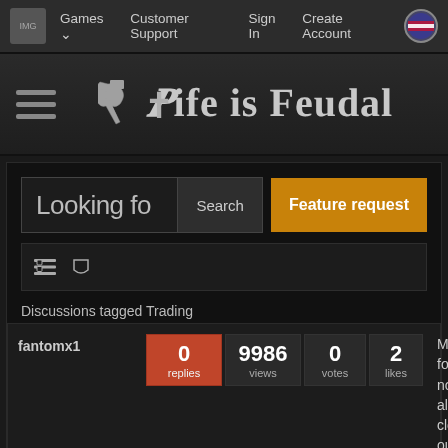Games  Customer Support  Sign In  Create Account
[Figure (logo): Life is Feudal game logo with stylized medieval font and crossed tools icon]
Looking fo  Search  Feature request
Discussions tagged Trading
| Author | Replies | Views | Votes | Likes | Excerpt |
| --- | --- | --- | --- | --- | --- |
| fantomx1 | 0 replies | 9986 views | 0 votes | 2 likes | Make forts/cities not always closed to outsiders, but make parts enter- |